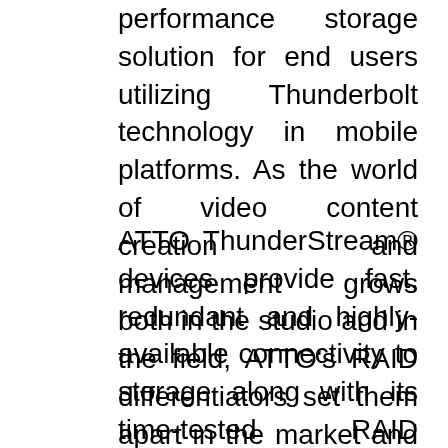performance storage solution for end users utilizing Thunderbolt technology in mobile platforms. As the world of video content creation and management grows both in the studio and in the field, ATTO's RAID differentiators set them apart in the market and is why we incorporated them in our latest line."
ATTO ThunderStream® devices provide fast, redundant and highly-available connectivity to storage along with its time-tested RAID functionality. Differentiating features of ATTO RAID products include Advanced Data Streaming (ADS™) Technology and DriveAssure™. Advanced Data Streaming is a core technology developed by ATTO that manages latency resulting in smooth data transfers and fewer dropped frames for consistent performance in high-bandwidth audio